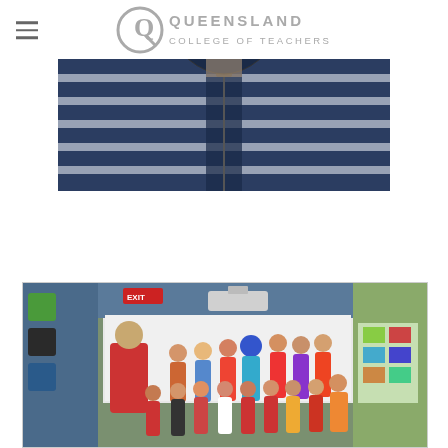Queensland College of Teachers
[Figure (photo): Close-up photo of a person wearing a navy blue and white striped zip-up top]
[Figure (photo): Group photo of a teacher and students in a colorful classroom, many wearing costumes or dress-up clothes. An EXIT sign is visible above a doorway in the background.]